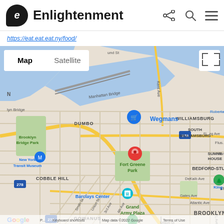Enlightenment
https://eat.eat.eat.ny/food/
[Figure (map): Google Map showing Brooklyn, NY area centered near Fort Greene Park. Visible neighborhoods include CHINATOWN, DUMBO, Manhattan Bridge, WILLIAMSBURG, SOUTH WILLIAMSBURG, Brooklyn Bridge Park, New York Transit Museum, COBBLE HILL, Barclays Center, Grand Army Plaza, GOWANUS, BEDFORD-STUY, and BROOKLYN. A red location pin is placed near Flushing Ave in Fort Greene. A Wegmans marker and other POI markers are visible. Map/Satellite toggle buttons are shown. Google logo and 'Keyboard shortcuts | Map data ©2022 Google | Terms of Use' footer visible.]